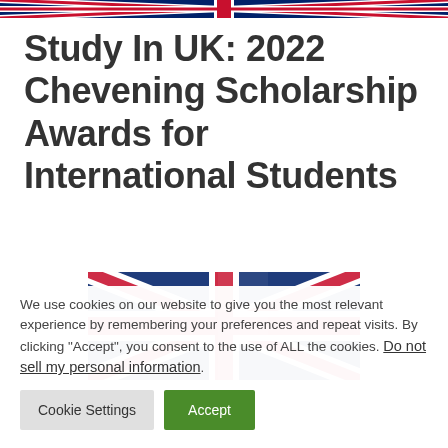Study In UK: 2022 Chevening Scholarship Awards for International Students
[Figure (photo): UK Union Jack flag close-up photo, showing red, white, and blue colors]
We use cookies on our website to give you the most relevant experience by remembering your preferences and repeat visits. By clicking “Accept”, you consent to the use of ALL the cookies. Do not sell my personal information.
Cookie Settings
Accept